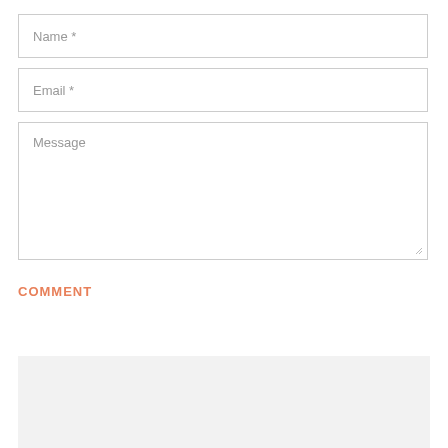Name *
Email *
Message
COMMENT